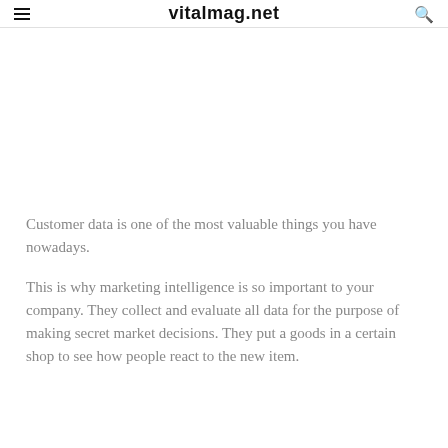vitalmag.net
Customer data is one of the most valuable things you have nowadays.
This is why marketing intelligence is so important to your company. They collect and evaluate all data for the purpose of making secret market decisions. They put a goods in a certain shop to see how people react to the new item.